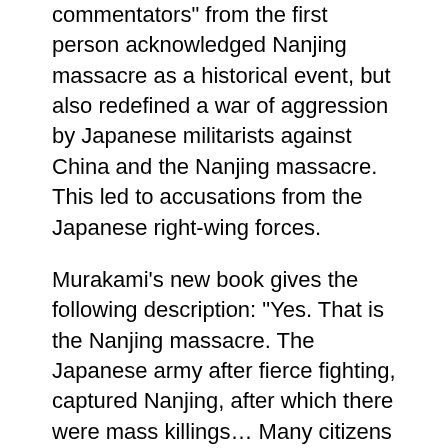commentators" from the first person acknowledged Nanjing massacre as a historical event, but also redefined a war of aggression by Japanese militarists against China and the Nanjing massacre. This led to accusations from the Japanese right-wing forces.
Murakami’s new book gives the following description: “Yes. That is the Nanjing massacre. The Japanese army after fierce fighting, captured Nanjing, after which there were mass killings… Many citizens were killed in the course of military operations, this fact can not be denied. As for the numbers killed, some say that there were 400 thousand, some 100 thousand people… But, in the end, what is the difference between 400 thousand and 100 thousand dead?”
“The question which was asked by the world-famous Japanese writer (what is the difference between 400 thousand and 100 thousand killed), is evoking a